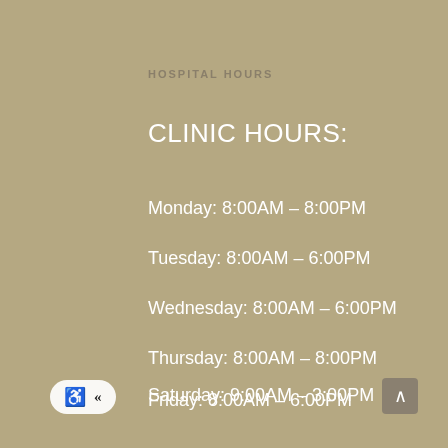HOSPITAL HOURS
CLINIC HOURS:
Monday: 8:00AM – 8:00PM
Tuesday: 8:00AM – 6:00PM
Wednesday: 8:00AM – 6:00PM
Thursday: 8:00AM – 8:00PM
Friday: 8:00AM – 6:00PM
Saturday: 9:00AM – 3:00PM